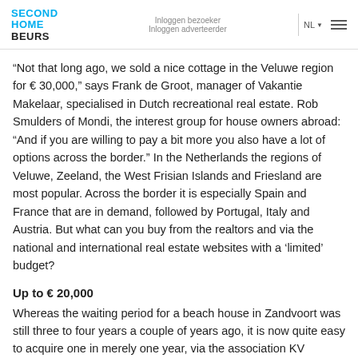SECOND HOME BEURS | Inloggen bezoeker Inloggen adverteerder | NL
“Not that long ago, we sold a nice cottage in the Veluwe region for € 30,000,” says Frank de Groot, manager of Vakantie Makelaar, specialised in Dutch recreational real estate. Rob Smulders of Mondi, the interest group for house owners abroad: “And if you are willing to pay a bit more you also have a lot of options across the border.” In the Netherlands the regions of Veluwe, Zeeland, the West Frisian Islands and Friesland are most popular. Across the border it is especially Spain and France that are in demand, followed by Portugal, Italy and Austria. But what can you buy from the realtors and via the national and international real estate websites with a ‘limited’ budget?
Up to € 20,000
Whereas the waiting period for a beach house in Zandvoort was still three to four years a couple of years ago, it is now quite easy to acquire one in merely one year, via the association KV Voorwaarts for example. They say that a timber demountable